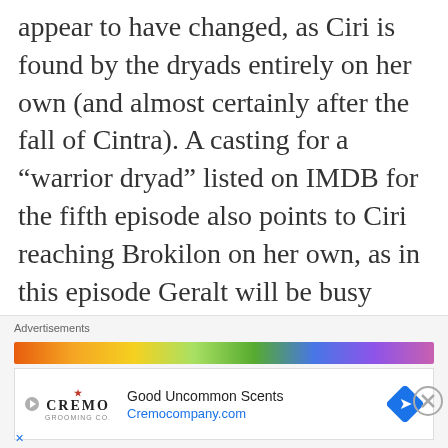appear to have changed, as Ciri is found by the dryads entirely on her own (and almost certainly after the fall of Cintra). A casting for a “warrior dryad” listed on IMDB for the fifth episode also points to Ciri reaching Brokilon on her own, as in this episode Geralt will be busy meeting Yennefer for the first
Advertisements
[Figure (infographic): Cremo advertisement banner with logo, 'Good Uncommon Scents' tagline, Cremocompany.com URL, and blue diamond navigation icon]